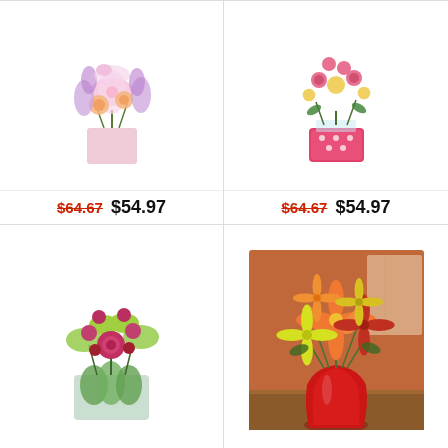[Figure (photo): Pink and purple flower bouquet in a pink square glass vase with lilies, roses, and lavender]
$64.67  $54.97
[Figure (photo): White daisies and pink spray roses in a pink polka dot vase]
$64.67  $54.97
[Figure (photo): Green and magenta flower arrangement with roses and greenery in a clear cylindrical vase]
[Figure (photo): Orange, yellow, and red lilies and alstroemeria in a red vase on a wooden surface]